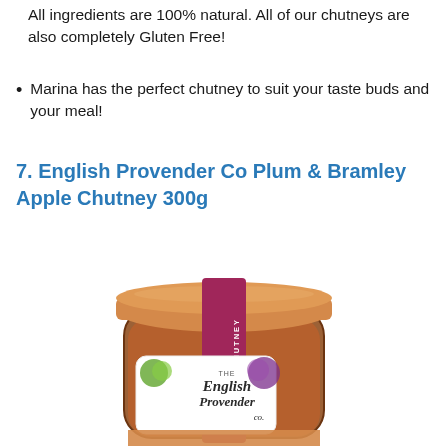All ingredients are 100% natural. All of our chutneys are also completely Gluten Free!
Marina has the perfect chutney to suit your taste buds and your meal!
7. English Provender Co Plum & Bramley Apple Chutney 300g
[Figure (photo): A jar of The English Provender Co Plum & Bramley Apple Chutney 300g with an orange lid and a pink/magenta label band reading CHUTNEY with a decorative ampersand logo, and a white product label with fruit illustrations.]